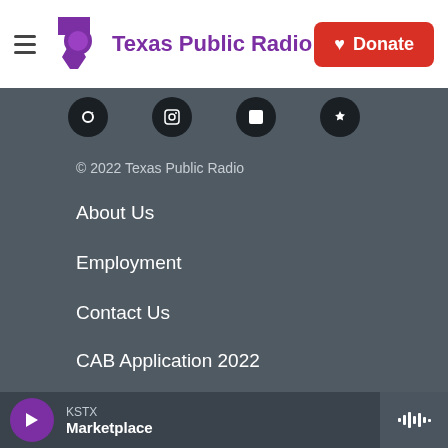Texas Public Radio | Donate
[Figure (logo): Texas Public Radio logo with purple Texas state shape and speech bubble icon, and red Donate button with heart icon]
[Figure (other): Row of four dark circular social media icons]
© 2022 Texas Public Radio
About Us
Employment
Contact Us
CAB Application 2022
TPR Brand Toolkit
Privacy Policy
Financial Reports
KSTX Marketplace